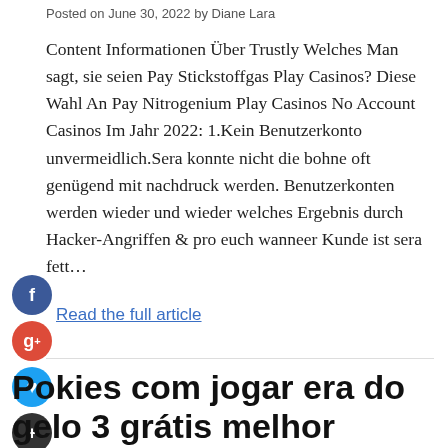Posted on June 30, 2022 by Diane Lara
Content Informationen Über Trustly Welches Man sagt, sie seien Pay Stickstoffgas Play Casinos? Diese Wahl An Pay Nitrogenium Play Casinos No Account Casinos Im Jahr 2022: 1.Kein Benutzerkonto unvermeidlich.Sera konnte nicht die bohne oft genügend mit nachdruck werden. Benutzerkonten werden wieder und wieder welches Ergebnis durch Hacker-Angriffen & pro euch wanneer Kunde ist sera fett…
Read the full article
Pokies com jogar era do gelo 3 grátis melhor